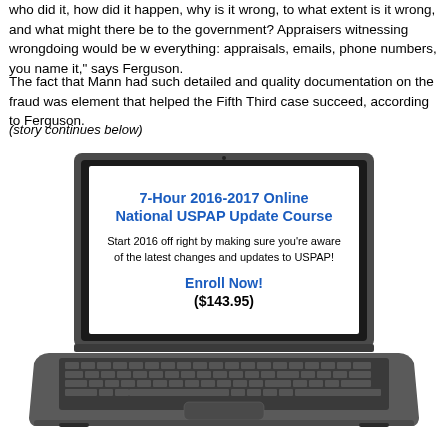who did it, how did it happen, why is it wrong, to what extent is it wrong, and what might there be to the government? Appraisers witnessing wrongdoing would be w everything: appraisals, emails, phone numbers, you name it," says Ferguson.
The fact that Mann had such detailed and quality documentation on the fraud was element that helped the Fifth Third case succeed, according to Ferguson.
(story continues below)
[Figure (illustration): A laptop computer displaying an advertisement for a '7-Hour 2016-2017 Online National USPAP Update Course' with the text 'Start 2016 off right by making sure you're aware of the latest changes and updates to USPAP!' and 'Enroll Now! ($143.95)']